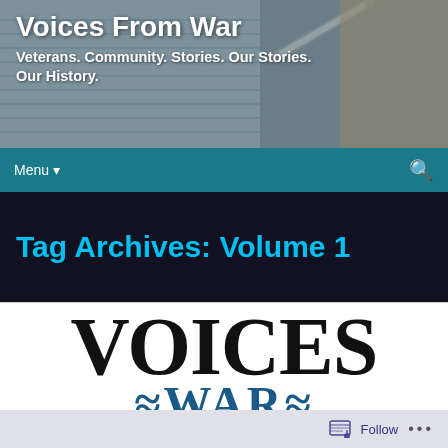[Figure (photo): Background photo of a notebook with lined paper and a pen, shown in muted gray-blue tones, serving as the header background for the website]
Voices From War
Veterans. Community. Stories. Our Stories. Our History.
Menu
Tag Archives: Volume 1
[Figure (logo): Voices From War logo showing VOICES in large black serif text and WAR in large dark blue serif text below, partially cropped]
Follow